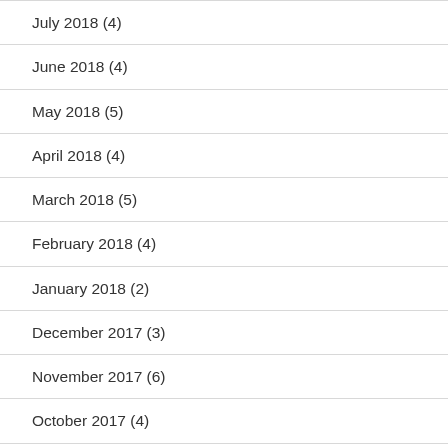July 2018 (4)
June 2018 (4)
May 2018 (5)
April 2018 (4)
March 2018 (5)
February 2018 (4)
January 2018 (2)
December 2017 (3)
November 2017 (6)
October 2017 (4)
September 2017 (4)